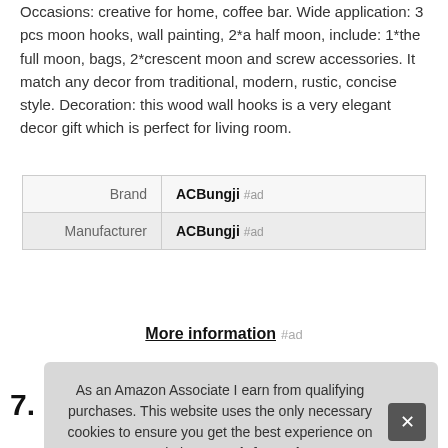Occasions: creative for home, coffee bar. Wide application: 3 pcs moon hooks, wall painting, 2*a half moon, include: 1*the full moon, bags, 2*crescent moon and screw accessories. It match any decor from traditional, modern, rustic, concise style. Decoration: this wood wall hooks is a very elegant decor gift which is perfect for living room.
| Brand | ACBungji #ad |
| Manufacturer | ACBungji #ad |
More information #ad
As an Amazon Associate I earn from qualifying purchases. This website uses the only necessary cookies to ensure you get the best experience on our website. More information
7.